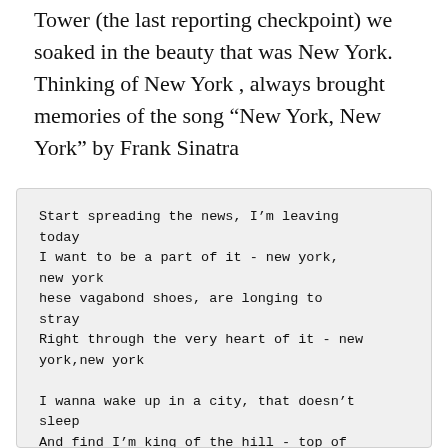Tower (the last reporting checkpoint) we soaked in the beauty that was New York. Thinking of New York , always brought memories of the song “New York, New York” by Frank Sinatra
Start spreading the news, I’m leaving today
I want to be a part of it - new york, new york
hese vagabond shoes, are longing to stray
Right through the very heart of it - new york,new york

I wanna wake up in a city, that doesn’t sleep
And find I’m king of the hill - top of